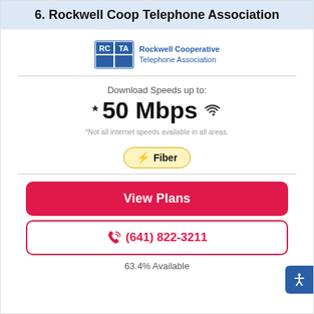6. Rockwell Coop Telephone Association
[Figure (logo): Rockwell Cooperative Telephone Association logo with RCTA initials in blue box and text to the right]
Download Speeds up to:
*50 Mbps
*Not all internet speeds available in all areas.
⚡ Fiber
View Plans
(641) 822-3211
63.4% Available